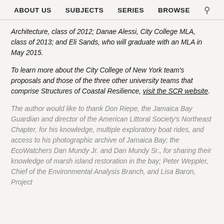ABOUT US   SUBJECTS   SERIES   BROWSE
Architecture, class of 2012; Danae Alessi, City College MLA, class of 2013; and Eli Sands, who will graduate with an MLA in May 2015.
To learn more about the City College of New York team's proposals and those of the three other university teams that comprise Structures of Coastal Resilience, visit the SCR website.
The author would like to thank Don Riepe, the Jamaica Bay Guardian and director of the American Littoral Society's Northeast Chapter, for his knowledge, multiple exploratory boat rides, and access to his photographic archive of Jamaica Bay; the EcoWatchers Dan Mundy Jr. and Dan Mundy Sr., for sharing their knowledge of marsh island restoration in the bay; Peter Weppler, Chief of the Environmental Analysis Branch, and Lisa Baron, Project